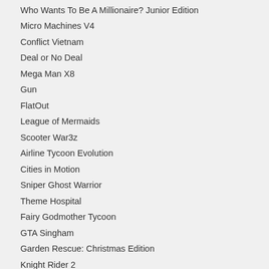Who Wants To Be A Millionaire? Junior Edition
Micro Machines V4
Conflict Vietnam
Deal or No Deal
Mega Man X8
Gun
FlatOut
League of Mermaids
Scooter War3z
Airline Tycoon Evolution
Cities in Motion
Sniper Ghost Warrior
Theme Hospital
Fairy Godmother Tycoon
GTA Singham
Garden Rescue: Christmas Edition
Knight Rider 2
Kingdom Tales 2
Deadly Dozen
Garfield's Wild Ride
Agassi Tennis Generation 2002
Deer Hunter 2: Deep Dive